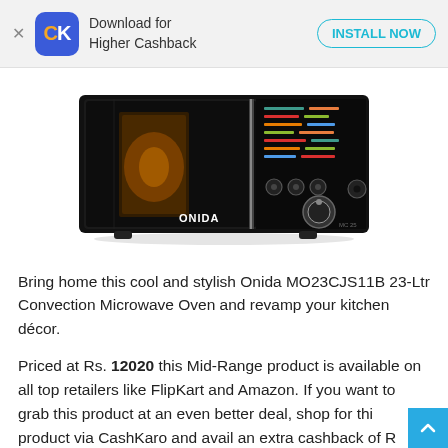Download for Higher Cashback — INSTALL NOW
[Figure (photo): Onida MO23CJS11B 23-Ltr Convection Microwave Oven — black microwave with glass door and digital control panel]
Bring home this cool and stylish Onida MO23CJS11B 23-Ltr Convection Microwave Oven and revamp your kitchen décor.
Priced at Rs. 12020 this Mid-Range product is available on all top retailers like FlipKart and Amazon. If you want to grab this product at an even better deal, shop for this product via CashKaro and avail an extra cashback of R